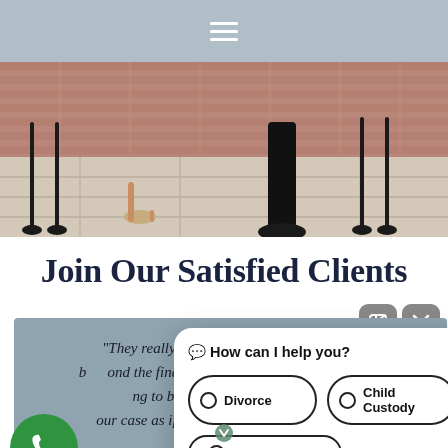[Figure (screenshot): Navigation bar with hamburger menu icon on gray-blue background]
[Figure (photo): Hero photo showing the lower bodies and feet of two people standing on a brick/stone patio — one in decorative heels, one in dress shoes with black pants, with wrought iron furniture visible]
Join Our Satisfied Clients
[Figure (screenshot): Chat popup with header 'How can I help you?' and options: Divorce, Child Custody, Child Support, Restraining Order, and partially visible additional options at bottom]
"They really do v... [person] beyond the financi[al worth of your case. If you're] [willing] to be repres[ented, they will treat y]our case as if you [were their own family, this] is the [firm for you.]"
[Figure (illustration): Green circle phone button with white telephone icon]